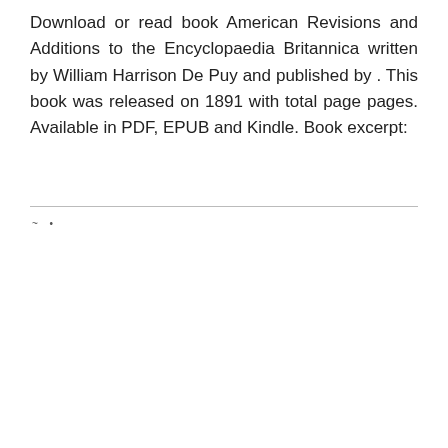Download or read book American Revisions and Additions to the Encyclopaedia Britannica written by William Harrison De Puy and published by . This book was released on 1891 with total page pages. Available in PDF, EPUB and Kindle. Book excerpt:
[Figure (illustration): Book title page excerpt showing 'THE ENCYCLOPÆDIA BRITANNICA DICTIONARY OF ARTS, SCIENCES, AND MISCELLANEOUS LITERATURE.' with a publisher's emblem (shield/crest in an oval) on the right side.]